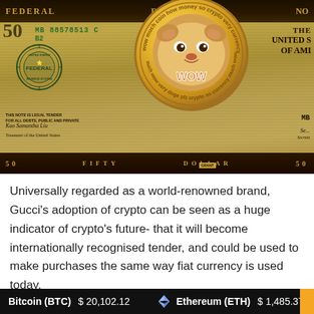[Figure (photo): A Dogecoin gold coin featuring the Shiba Inu 'Doge' meme face with text 'wow much coin how money so crypto very currency much wow' around the edge, placed on top of a US $50 Federal Reserve Note (dollar bill) showing the Grant portrait, serial number MB88578513C B2, Federal Reserve seal, and denomination text.]
Universally regarded as a world-renowned brand, Gucci's adoption of crypto can be seen as a huge indicator of crypto's future- that it will become internationally recognised tender, and could be used to make purchases the same way fiat currency is used today.
Bitcoin (BTC)  $20,102.12    Ethereum (ETH)  $1,485.37